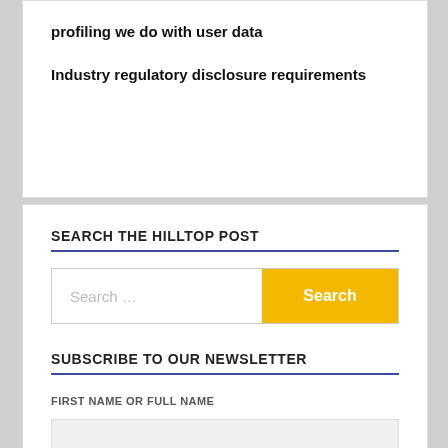profiling we do with user data
Industry regulatory disclosure requirements
SEARCH THE HILLTOP POST
Search ...
SUBSCRIBE TO OUR NEWSLETTER
FIRST NAME OR FULL NAME